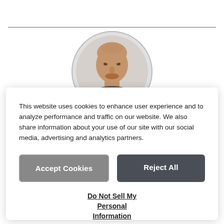[Figure (photo): Circular profile photo of a bald middle-aged man against a light grey background]
This website uses cookies to enhance user experience and to analyze performance and traffic on our website. We also share information about your use of our site with our social media, advertising and analytics partners.
Accept Cookies
Reject All
Do Not Sell My Personal Information